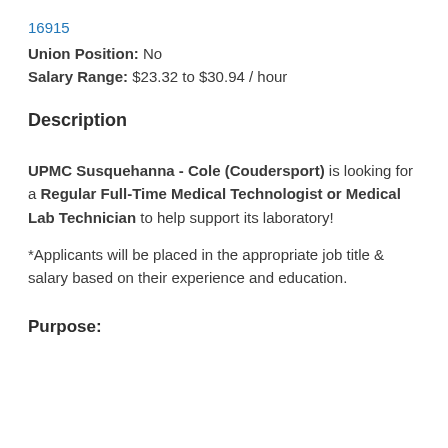16915
Union Position: No
Salary Range: $23.32 to $30.94 / hour
Description
UPMC Susquehanna - Cole (Coudersport) is looking for a Regular Full-Time Medical Technologist or Medical Lab Technician to help support its laboratory!
*Applicants will be placed in the appropriate job title & salary based on their experience and education.
Purpose: